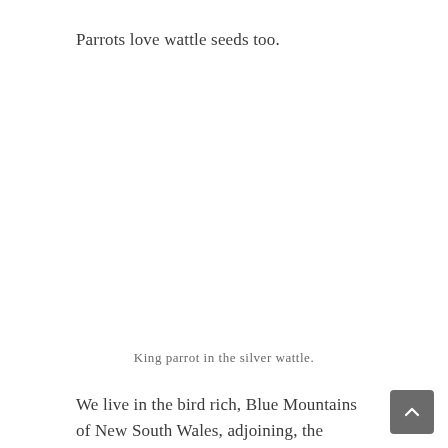Parrots love wattle seeds too.
King parrot in the silver wattle.
We live in the bird rich, Blue Mountains of New South Wales, adjoining, the